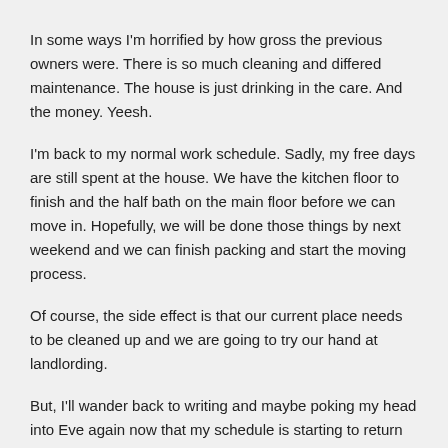In some ways I'm horrified by how gross the previous owners were. There is so much cleaning and differed maintenance. The house is just drinking in the care. And the money. Yeesh.
I'm back to my normal work schedule. Sadly, my free days are still spent at the house. We have the kitchen floor to finish and the half bath on the main floor before we can move in. Hopefully, we will be done those things by next weekend and we can finish packing and start the moving process.
Of course, the side effect is that our current place needs to be cleaned up and we are going to try our hand at landlording.
But, I'll wander back to writing and maybe poking my head into Eve again now that my schedule is starting to return to sanity. 10-12 hours a day working on the house has left me feeling not quite as young as I once did.
Bonus update on Intuition. He was modeling the stairs I was staining (staining is done, now I have to repaint the white. I'll do the rails and banisters after we move.)